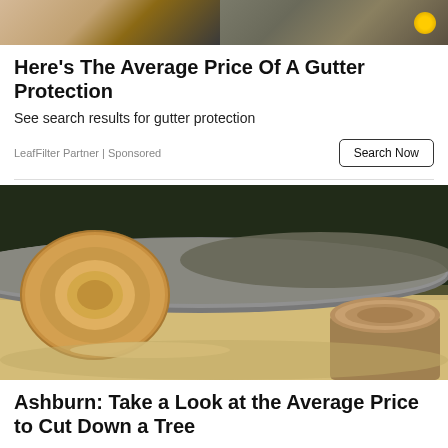[Figure (photo): Top portion of advertisement image showing gutter protection product on left and a person on right]
Here's The Average Price Of A Gutter Protection
See search results for gutter protection
LeafFilter Partner | Sponsored
[Figure (photo): Photo of cut tree logs and a tree stump on sandy ground outdoors]
Ashburn: Take a Look at the Average Price to Cut Down a Tree